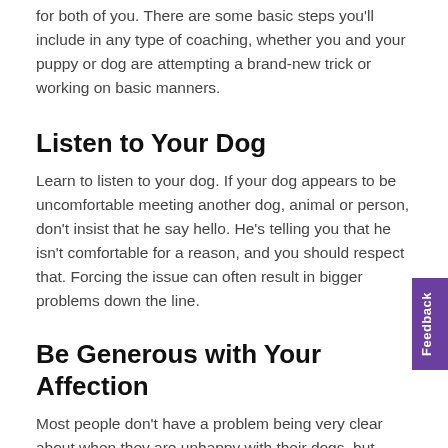for both of you. There are some basic steps you'll include in any type of coaching, whether you and your puppy or dog are attempting a brand-new trick or working on basic manners.
Listen to Your Dog
Learn to listen to your dog. If your dog appears to be uncomfortable meeting another dog, animal or person, don't insist that he say hello. He's telling you that he isn't comfortable for a reason, and you should respect that. Forcing the issue can often result in bigger problems down the line.
Be Generous with Your Affection
Most people don't have a problem being very clear about when they are unhappy with their dogs, but, they often ignore the good stuff. Big mistake! Make sure you give your dog lots of attention when he's doing the right thing. Let him know